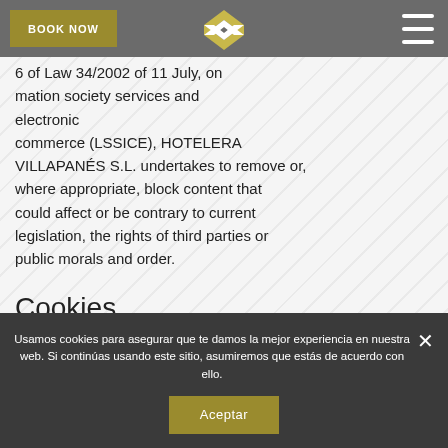BOOK NOW | [logo] | [menu]
...knows, in accordance with Articles 11 · 16 of Law 34/2002 of 11 July, on information society services and electronic commerce (LSSICE), HOTELERA VILLAPANÉS S.L. undertakes to remove or, where appropriate, block content that could affect or be contrary to current legislation, the rights of third parties or public morals and order.
Cookies
HOTELERA VILLAPANÉS S.L. uses cookies,
Usamos cookies para asegurar que te damos la mejor experiencia en nuestra web. Si continúas usando este sitio, asumiremos que estás de acuerdo con ello.
Aceptar